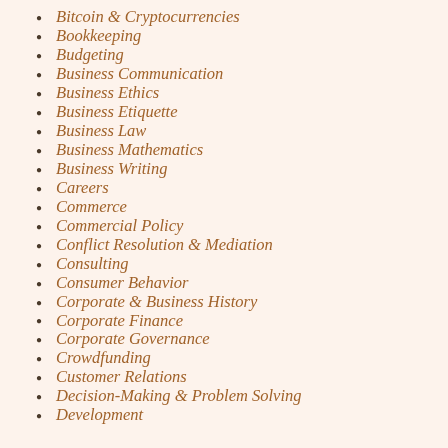Bitcoin & Cryptocurrencies
Bookkeeping
Budgeting
Business Communication
Business Ethics
Business Etiquette
Business Law
Business Mathematics
Business Writing
Careers
Commerce
Commercial Policy
Conflict Resolution & Mediation
Consulting
Consumer Behavior
Corporate & Business History
Corporate Finance
Corporate Governance
Crowdfunding
Customer Relations
Decision-Making & Problem Solving
Development